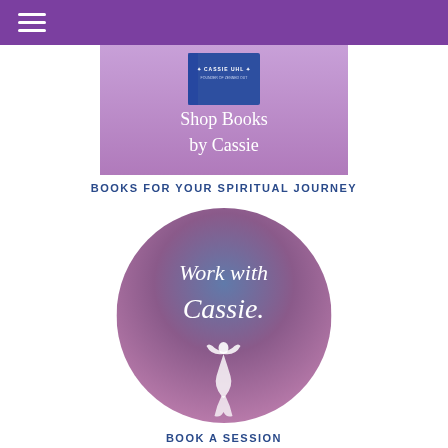[Figure (photo): Rectangular banner image showing a book by Cassie Uhl on a pink/purple background with the text 'Shop Books by Cassie' in white serif font]
BOOKS FOR YOUR SPIRITUAL JOURNEY
[Figure (illustration): Circle graphic with a blue-to-purple gradient background showing the text 'Work with Cassie' in white serif font and a white silhouette of a meditating figure below]
BOOK A SESSION